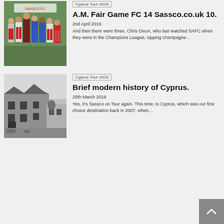Cyprus Tour 2019
[Figure (photo): Group of football players in red/white and blue kits standing on a pitch]
A.M. Fair Game FC 14 Sassco.co.uk 10.
2nd April 2019
And then there were three. Chris Dixon, who last watched SAFC when they were in the Champions League, sipping champagne…
Cyprus Tour 2019
[Figure (photo): Black and white photo of a ruined building in Cyprus]
Brief modern history of Cyprus.
25th March 2019
Yes, it's Sassco on Tour again. This time, to Cyprus, which was our first choice destination back in 2007, when…